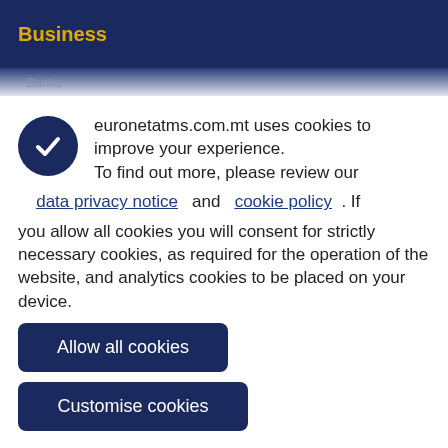Business
• Banks
euronetatms.com.mt uses cookies to improve your experience. To find out more, please review our data privacy notice and cookie policy . If you allow all cookies you will consent for strictly necessary cookies, as required for the operation of the website, and analytics cookies to be placed on your device.
Allow all cookies
Customise cookies